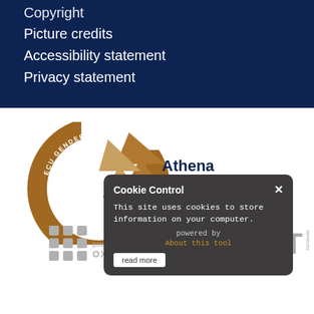Copyright
Picture credits
Accessibility statement
Privacy statement
[Figure (logo): Athena SWAN ECU Gender Charter Bronze Award logo - circular bronze design with swan arrows and text]
[Figure (screenshot): Cookie Control popup overlay with dark background, showing title 'Cookie Control' with X close button, text 'This site uses cookies to store information on your computer.', 'powered by', 'About this tool' link in orange, and 'read more' button]
[Figure (logo): Oxford Mosaic powered by logo with grid dots icon on left and text 'powered by OXFORD MOSAIC']
[Figure (logo): iT services logo in grey on right side]